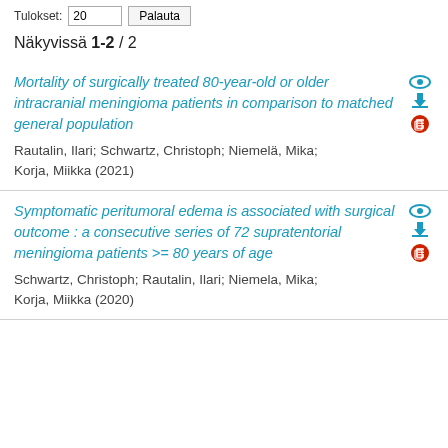Tulokset: 20 ▼   Palauta
Näkyvissä 1-2 / 2
Mortality of surgically treated 80-year-old or older intracranial meningioma patients in comparison to matched general population
Rautalin, Ilari; Schwartz, Christoph; Niemelä, Mika; Korja, Miikka (2021)
Symptomatic peritumoral edema is associated with surgical outcome : a consecutive series of 72 supratentorial meningioma patients >= 80 years of age
Schwartz, Christoph; Rautalin, Ilari; Niemela, Mika; Korja, Miikka (2020)